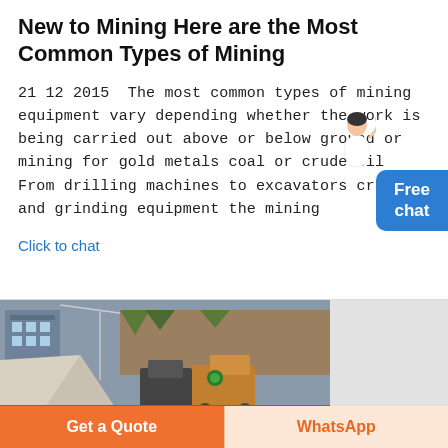New to Mining Here are the Most Common Types of Mining
21 12 2015  The most common types of mining equipment vary depending whether the work is being carried out above or below ground or mining for gold metals coal or crude oil  From drilling machines to excavators crushing and grinding equipment the mining
Click to chat
[Figure (photo): Mining site photograph showing industrial mining equipment, excavators, crushed stone piles, and hillside terrain]
Get a Quote
WhatsApp